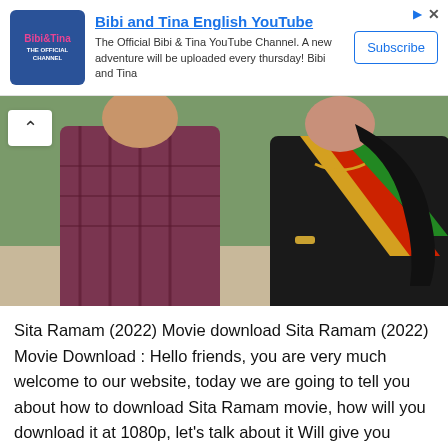[Figure (screenshot): Advertisement banner for Bibi and Tina English YouTube channel with logo, description text, and Subscribe button]
[Figure (photo): A man in a dark plaid shirt and a woman in a black saree with colorful striped border, standing together outdoors]
Sita Ramam (2022) Movie download Sita Ramam (2022) Movie Download : Hello friends, you are very much welcome to our website, today we are going to tell you about how to download Sita Ramam movie, how will you download it at 1080p, let's talk about it Will give you complete information